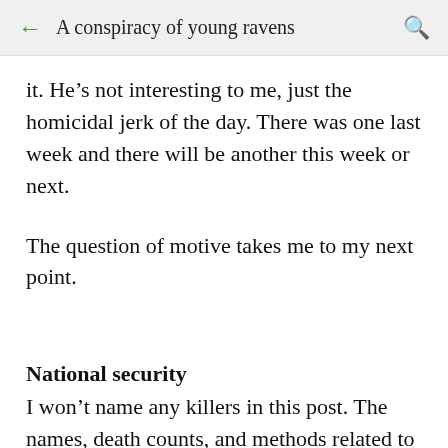A conspiracy of young ravens
it. He’s not interesting to me, just the homicidal jerk of the day. There was one last week and there will be another this week or next.
The question of motive takes me to my next point.
National security
I won’t name any killers in this post. The names, death counts, and methods related to all mass